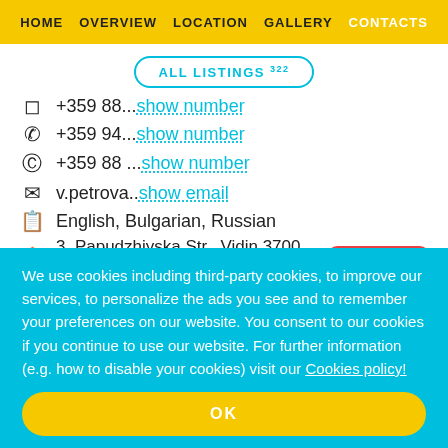HOME  OVERVIEW  LOCATION  GALLERY  CONTACTS
ALL LISTINGS 322
+359 88... show number
+359 94... show number
+359 88 ... show number
v.petrova.. show email
English, Bulgarian, Russian
3, Papudzhiyska Str., Vidin 3700, Bulgaria  ON THE MAP
We use cookies including third-party cookies, to improve our services, to personalize the ads you see and to remember your preferences on our website. You consent to our cookies if you continue to use our website. For further information (e.g. how to disable your cookies) visit our Cookies policy!
OK